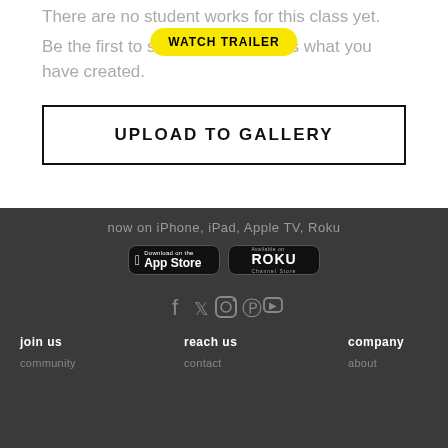There are no student works for this class yet.
Be the first to show other students what you have created.
UPLOAD TO GALLERY
RELATED CLASSES
now on iPhone, iPad, Apple TV, Roku
[Figure (logo): Download on the App Store badge]
[Figure (logo): Available on Roku Channel Store badge]
join us
reach us
company
community
contact
about